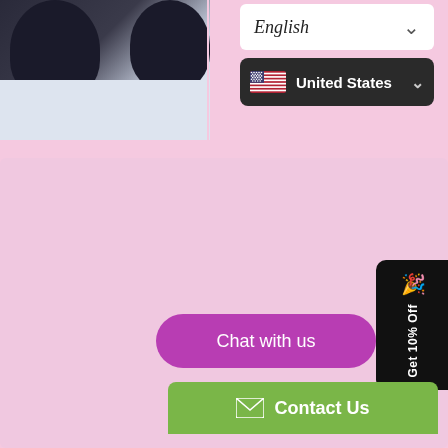[Figure (screenshot): Top portion of an e-commerce website screenshot showing a product photo of dark ear-cup headphones on a white/light blue surface on the left, and a language/country selector UI on the right with 'English' dropdown and 'United States' flag dropdown on dark background]
[Figure (screenshot): Large pink/light pink background content area of an e-commerce page, largely empty]
[Figure (screenshot): Black vertical promotional tab on right edge reading 'Get 10% Off' with party icon]
[Figure (screenshot): Purple rounded 'Chat with us' button]
[Figure (screenshot): Green 'Contact Us' button with envelope icon at bottom right]